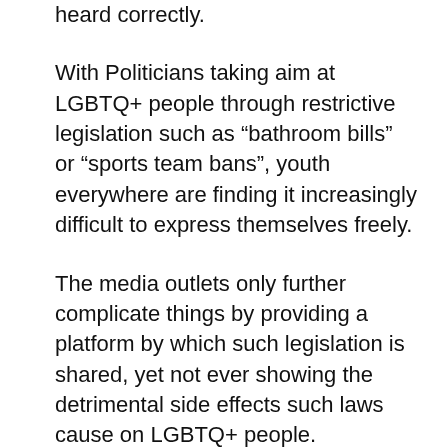heard correctly.
With Politicians taking aim at LGBTQ+ people through restrictive legislation such as “bathroom bills” or “sports team bans”, youth everywhere are finding it increasingly difficult to express themselves freely.
The media outlets only further complicate things by providing a platform by which such legislation is shared, yet not ever showing the detrimental side effects such laws cause on LGBTQ+ people.
Our purpose can be found in many of the “hate comments” seen on line. We find more often than not, the overly-